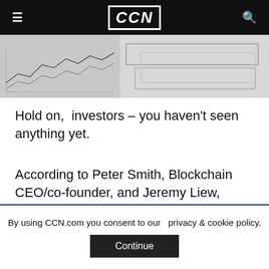CCN
[Figure (photo): Hero image showing paper currency (US dollar bills) and a stock chart graph in the background, black and white/grayscale tones.]
Hold on,  investors – you haven't seen anything yet.
According to Peter Smith, Blockchain CEO/co-founder, and Jeremy Liew, Snapchat's first investor, bitcoin's price could hit $500,000 by 2030. The pair made their case for this projection to
By using CCN.com you consent to our  privacy & cookie policy.
Continue